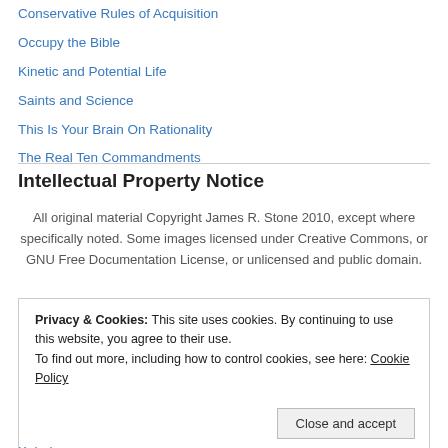Conservative Rules of Acquisition
Occupy the Bible
Kinetic and Potential Life
Saints and Science
This Is Your Brain On Rationality
The Real Ten Commandments
Intellectual Property Notice
All original material Copyright James R. Stone 2010, except where specifically noted. Some images licensed under Creative Commons, or GNU Free Documentation License, or unlicensed and public domain.
Privacy & Cookies: This site uses cookies. By continuing to use this website, you agree to their use.
To find out more, including how to control cookies, see here: Cookie Policy
Kajed Heat